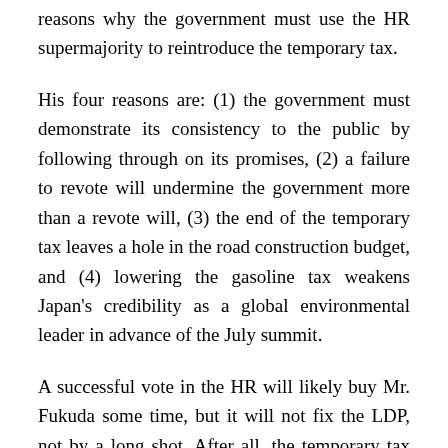reasons why the government must use the HR supermajority to reintroduce the temporary tax.
His four reasons are: (1) the government must demonstrate its consistency to the public by following through on its promises, (2) a failure to revote will undermine the government more than a revote will, (3) the end of the temporary tax leaves a hole in the road construction budget, and (4) lowering the gasoline tax weakens Japan's credibility as a global environmental leader in advance of the July summit.
A successful vote in the HR will likely buy Mr. Fukuda some time, but it will not fix the LDP, not by a long shot. After all, the temporary tax has become a